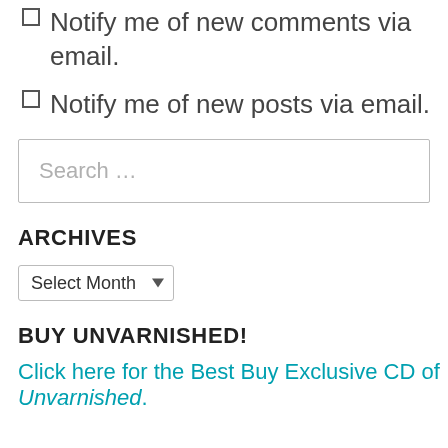Notify me of new comments via email.
Notify me of new posts via email.
Search …
ARCHIVES
Select Month
BUY UNVARNISHED!
Click here for the Best Buy Exclusive CD of Unvarnished.